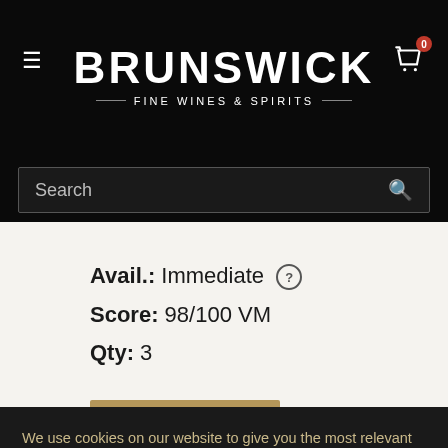BRUNSWICK — FINE WINES & SPIRITS
Search
Avail.: Immediate
Score: 98/100 VM
Qty: 3
We use cookies on our website to give you the most relevant experience by remembering your preferences and repeat visits. By clicking “Accept”, you consent to the use of ALL the cookies.
Cookie settings   ACCEPT